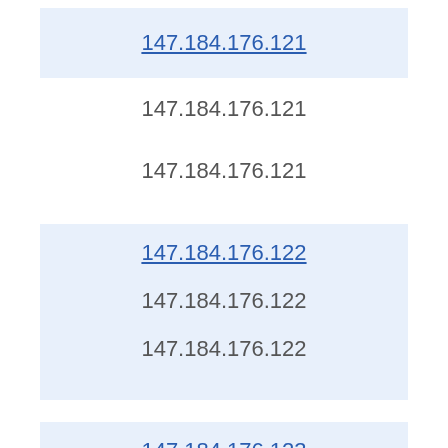147.184.176.121 (link)
147.184.176.121
147.184.176.121
147.184.176.122 (link)
147.184.176.122
147.184.176.122
147.184.176.123 (link)
147.184.176.123
147.184.176.123